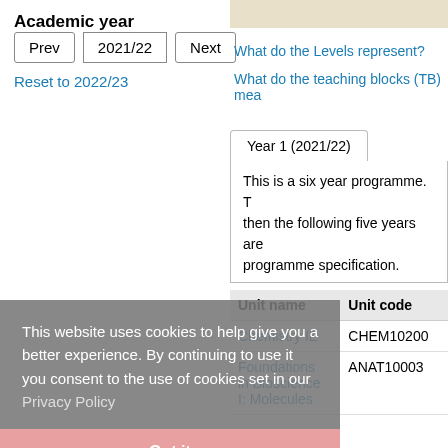Academic year
Prev  2021/22  Next
Reset to 2022/23
What do the Levels represent?
What do the teaching blocks (TB) mea
Year 1 (2021/22)
This is a six year programme. T then the following five years are programme specification.
| Unit name | Unit code |
| --- | --- |
| Chemistry IE | CHEM10200 |
| Foundations in Bioscience I: Molecules | ANAT10003 |
This website uses cookies to help give you a better experience. By continuing to use it you consent to the use of cookies set in our Privacy Policy
Got it